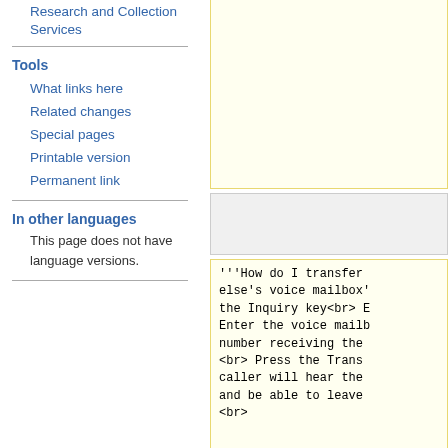Research and Collection Services
Tools
What links here
Related changes
Special pages
Printable version
Permanent link
In other languages
This page does not have language versions.
''<br>'''How do I mo... options? '''<br>''Pr... to move back out of s... return to the main me... do I bypass a voice m... leave a message?''<b... bypass a greeting.''
'''How do I transfer... else's voice mailbox'... the Inquiry key<br> E... Enter the voice mailb... number receiving the... <br> Press the Trans... caller will hear the... and be able to leave... <br>
[http://midd2.middleb...